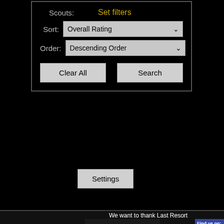[Figure (screenshot): Web application filter UI on black background with Scouts label, Set filters link, Sort dropdown showing 'Overall Rating', Order dropdown showing 'Descending Order', Clear All and Search buttons, and a Settings button below.]
We want to thank Last Resort
[Figure (logo): Last Resort Games logo - yellow eagle/wing emblem with 'LAST' text on dark background]
[Figure (screenshot): Find us on: ebook (Facebook) panel in blue, with facebook.com/LastResortGa URL text]
This website uses cookies to ensure you get the best experience on our website.
Learn more
Got it!
n communi
d are those
d from PES
t 2015-2016
Privacy Poli